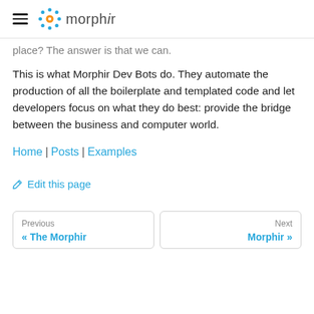morphir
place? The answer is that we can.
This is what Morphir Dev Bots do. They automate the production of all the boilerplate and templated code and let developers focus on what they do best: provide the bridge between the business and computer world.
Home | Posts | Examples
✏ Edit this page
Previous « The Morphir
Next Morphir »